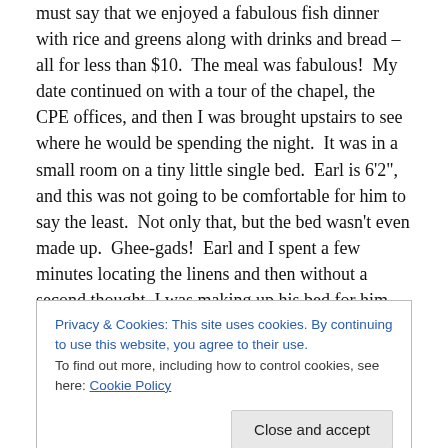must say that we enjoyed a fabulous fish dinner with rice and greens along with drinks and bread – all for less than $10.  The meal was fabulous!  My date continued on with a tour of the chapel, the CPE offices, and then I was brought upstairs to see where he would be spending the night.  It was in a small room on a tiny little single bed.  Earl is 6'2", and this was not going to be comfortable for him to say the least.  Not only that, but the bed wasn't even made up.  Ghee-gads!  Earl and I spent a few minutes locating the linens and then without a second thought, I was making up his bed for him.
Privacy & Cookies: This site uses cookies. By continuing to use this website, you agree to their use.
To find out more, including how to control cookies, see here: Cookie Policy
pastor, so that he can touch the souls of those in distress